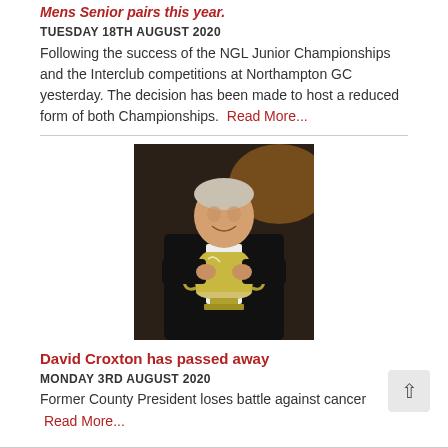Mens Senior pairs this year.
TUESDAY 18TH AUGUST 2020
Following the success of the NGL Junior Championships and the Interclub competitions at Northampton GC yesterday. The decision has been made to host a reduced form of both Championships.  Read More...
[Figure (photo): Man in black tie holding a large silver trophy cup]
David Croxton has passed away
MONDAY 3RD AUGUST 2020
Former County President loses battle against cancer
Read More...